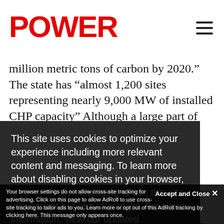POWER
million metric tons of carbon by 2020." The state has “almost 1,200 sites representing nearly 9,000 MW of installed CHP capacity” Although a large part of this
This site uses cookies to optimize your experience including more relevant content and messaging. To learn more about disabling cookies in your browser, click here. By continuing to use this site, you accept our use of cookies. For more information, view our updated Privacy Policy.
I consent
Accept and Close × Your browser settings do not allow cross-site tracking for advertising. Click on this page to allow AdRoll to use cross-site tracking to tailor ads to you. Learn more or opt out of this AdRoll tracking by clicking here. This message only appears once.